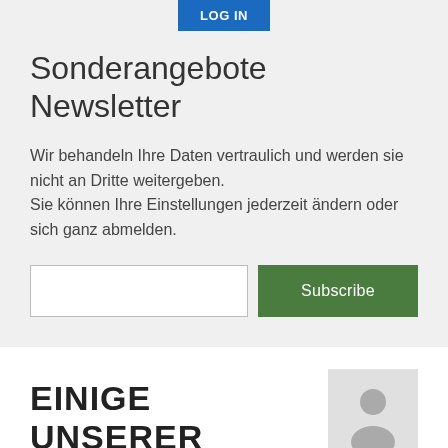Sonderangebote Newsletter
Wir behandeln Ihre Daten vertraulich und werden sie nicht an Dritte weitergeben.
Sie können Ihre Einstellungen jederzeit ändern oder sich ganz abmelden.
EINIGE UNSERER KUNDEN
[Figure (illustration): Grey person/user silhouette placeholder icon on light grey background]